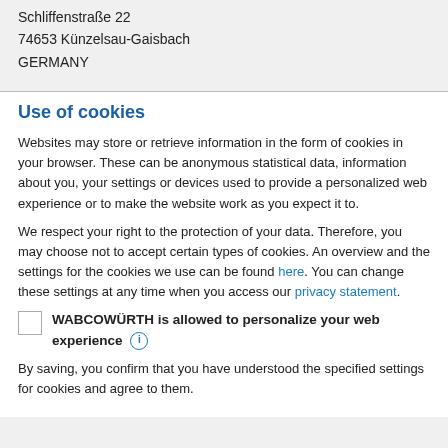Schliffenstraße 22
74653 Künzelsau-Gaisbach
GERMANY
Use of cookies
Websites may store or retrieve information in the form of cookies in your browser. These can be anonymous statistical data, information about you, your settings or devices used to provide a personalized web experience or to make the website work as you expect it to.
We respect your right to the protection of your data. Therefore, you may choose not to accept certain types of cookies. An overview and the settings for the cookies we use can be found here. You can change these settings at any time when you access our privacy statement.
WABCOWÜRTH is allowed to personalize your web experience
By saving, you confirm that you have understood the specified settings for cookies and agree to them.